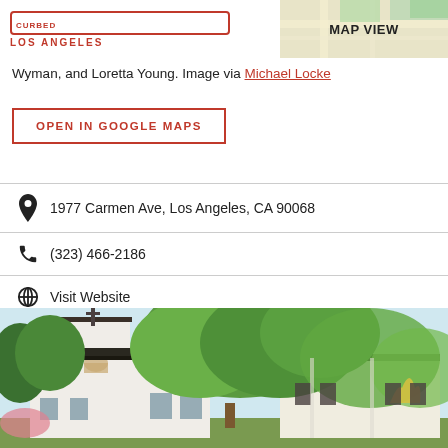CURBED LOS ANGELES
Wyman, and Loretta Young. Image via Michael Locke
OPEN IN GOOGLE MAPS
1977 Carmen Ave, Los Angeles, CA 90068
(323) 466-2186
Visit Website
[Figure (photo): Exterior of a Spanish Colonial Revival building with a white bell tower topped with a cross, surrounded by large green trees, with a yellow sculpture visible at right]